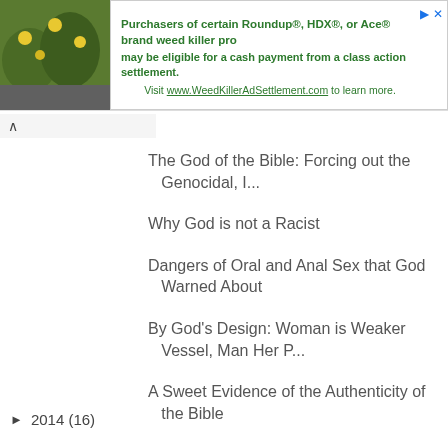[Figure (other): Advertisement banner for Roundup/HDX/Ace weed killer class action settlement. Green plant photo on left, text on right: 'Purchasers of certain Roundup®, HDX®, or Ace® brand weed killer products may be eligible for a cash payment from a class action settlement. Visit www.WeedKillerAdSettlement.com to learn more.']
The God of the Bible: Forcing out the Genocidal, I...
Why God is not a Racist
Dangers of Oral and Anal Sex that God Warned About
By God's Design: Woman is Weaker Vessel, Man Her P...
A Sweet Evidence of the Authenticity of the Bible
► 2014 (16)